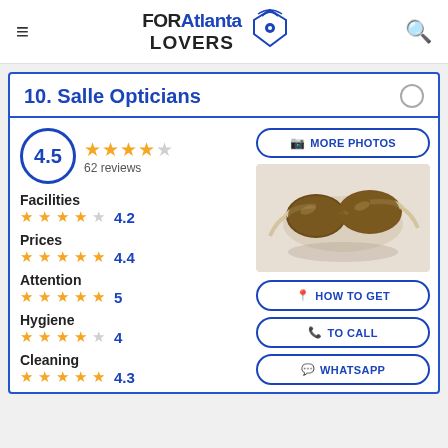FOR Atlanta LOVERS
10. Salle Opticians
4.5 — 62 reviews
Facilities 4.2
Prices 4.4
Attention 5
Hygiene 4
Cleaning 4.3
[Figure (photo): Pair of luxury gold-frame aviator sunglasses with brown lenses]
MORE PHOTOS
HOW TO GET
TO CALL
WHATSAPP